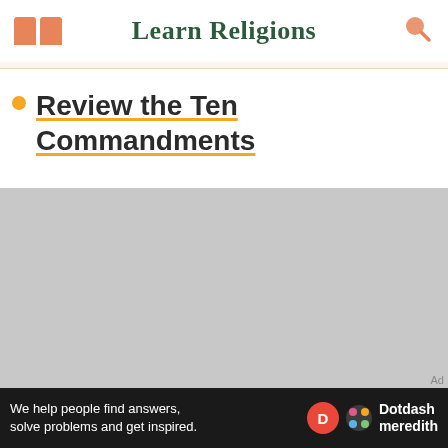Learn Religions
Review the Ten Commandments
[Figure (photo): Grey placeholder image area]
We help people find answers, solve problems and get inspired. Dotdash meredith